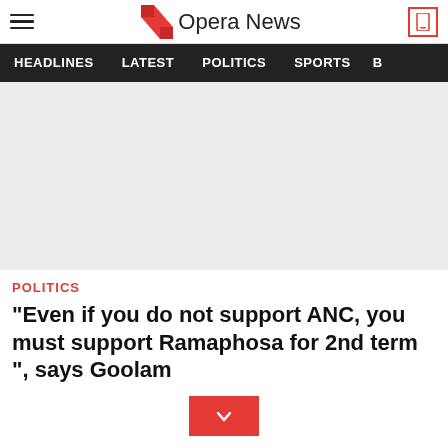Opera News
HEADLINES  LATEST  POLITICS  SPORTS  B
[Figure (photo): Light grey placeholder image area for article]
POLITICS
"Even if you do not support ANC, you must support Ramaphosa for 2nd term ", says Goolam